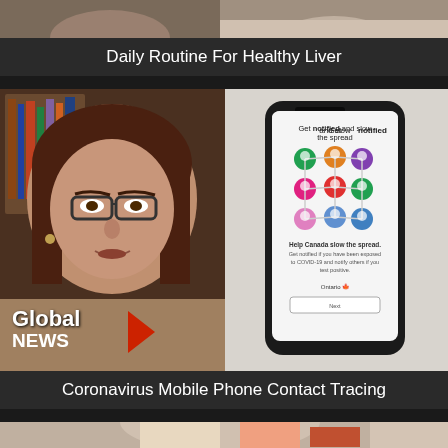[Figure (screenshot): Partial top image showing two people, bottom portion of video thumbnail for Daily Routine For Healthy Liver]
Daily Routine For Healthy Liver
[Figure (screenshot): Video thumbnail split: left side shows a woman with glasses from Global News, right side shows a smartphone with contact tracing app displaying colorful network nodes and text 'Get notified and slow the spread']
Coronavirus Mobile Phone Contact Tracing
[Figure (photo): Partial bottom image, beginning of another video thumbnail]